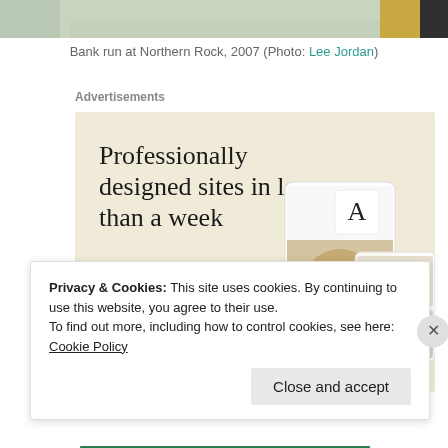[Figure (photo): Top portion of a photo showing a street scene, bank run at Northern Rock 2007]
Bank run at Northern Rock, 2007 (Photo: Lee Jordan)
Advertisements
[Figure (screenshot): Advertisement banner with text 'Professionally designed sites in less than a week', green 'Explore options' button, and website mockup images on a beige background]
Privacy & Cookies: This site uses cookies. By continuing to use this website, you agree to their use.
To find out more, including how to control cookies, see here: Cookie Policy
Close and accept